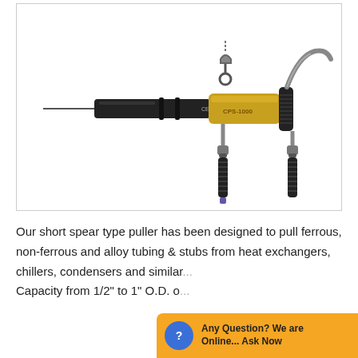[Figure (photo): A hydraulic short spear type tube puller tool (CPS-1000 model), featuring a black cylindrical body with gold/brass hydraulic cylinder, a long spear tip on the left, hanging hook at top, hydraulic hoses connected below with black coiled grip handles, against a white background.]
Our short spear type puller has been designed to pull ferrous, non-ferrous and alloy tubing & stubs from heat exchangers, chillers, condensers and similar... Capacity from 1/2" to 1" O.D. of...